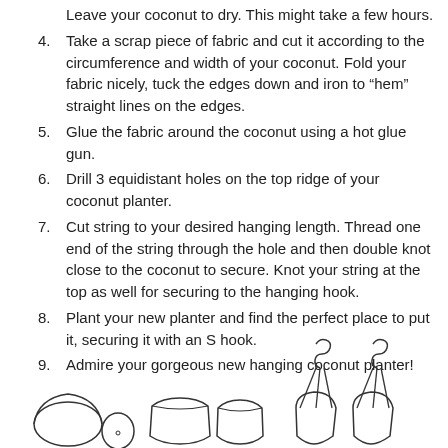Leave your coconut to dry. This might take a few hours.
Take a scrap piece of fabric and cut it according to the circumference and width of your coconut. Fold your fabric nicely, tuck the edges down and iron to “hem” straight lines on the edges.
Glue the fabric around the coconut using a hot glue gun.
Drill 3 equidistant holes on the top ridge of your coconut planter.
Cut string to your desired hanging length. Thread one end of the string through the hole and then double knot close to the coconut to secure. Knot your string at the top as well for securing to the hanging hook.
Plant your new planter and find the perfect place to put it, securing it with an S hook.
Admire your gorgeous new hanging coconut planter!
[Figure (illustration): Line drawings of coconut planters at various stages: half coconuts, coconuts wrapped in fabric, and two hanging coconut planters with strings and S hooks]